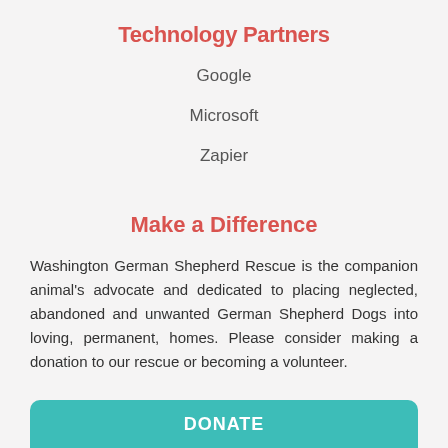Technology Partners
Google
Microsoft
Zapier
Make a Difference
Washington German Shepherd Rescue is the companion animal's advocate and dedicated to placing neglected, abandoned and unwanted German Shepherd Dogs into loving, permanent, homes. Please consider making a donation to our rescue or becoming a volunteer.
DONATE